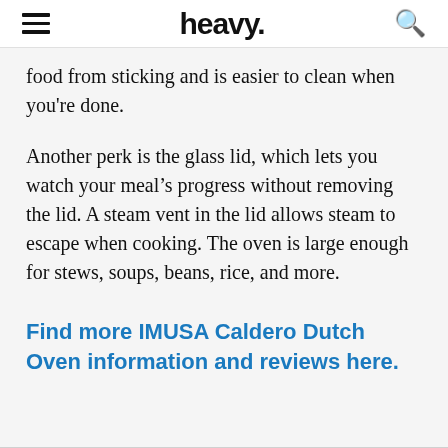heavy.
food from sticking and is easier to clean when you're done.
Another perk is the glass lid, which lets you watch your meal's progress without removing the lid. A steam vent in the lid allows steam to escape when cooking. The oven is large enough for stews, soups, beans, rice, and more.
Find more IMUSA Caldero Dutch Oven information and reviews here.